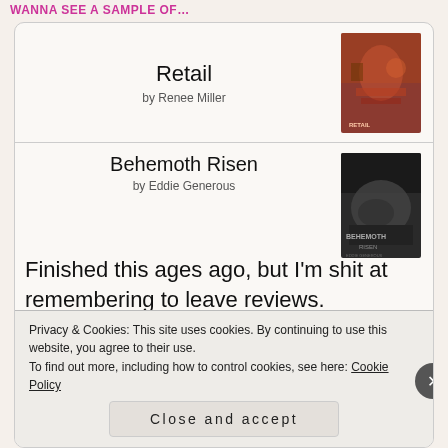WANNA SEE A SAMPLE OF...
Retail
by Renee Miller
Behemoth Risen
by Eddie Generous
Finished this ages ago, but I'm shit at remembering to leave reviews. ANYWAY, this was such a fun ride, even though I cried over Hunter. (Damn you, Eddie) I recommend for a fast-paced weekend escape read, no matter what genre you
Privacy & Cookies: This site uses cookies. By continuing to use this website, you agree to their use.
To find out more, including how to control cookies, see here: Cookie Policy
Close and accept